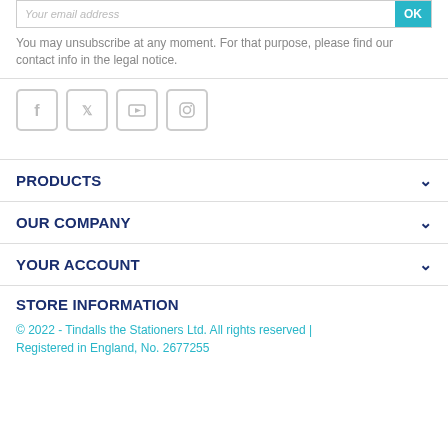Your email address | OK
You may unsubscribe at any moment. For that purpose, please find our contact info in the legal notice.
[Figure (illustration): Social media icons row: Facebook, Twitter, YouTube, Instagram — each in a light grey rounded square border]
PRODUCTS
OUR COMPANY
YOUR ACCOUNT
STORE INFORMATION
© 2022 - Tindalls the Stationers Ltd. All rights reserved | Registered in England, No. 2677255